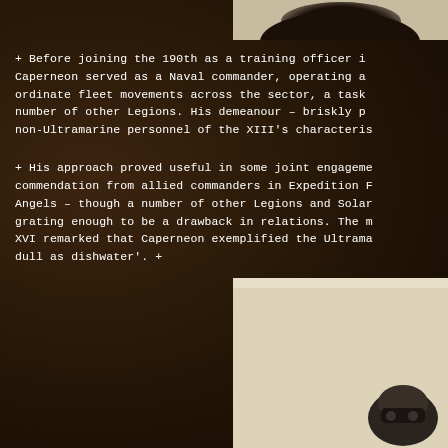[Figure (photo): Partial image at top right, showing what appears to be a dark helmet or rounded object against a light cream/beige background]
+ Before joining the 190th as a training officer in Caperneon served as a Naval commander, operating as ordinate fleet movements across the sector, a task number of other Legions. His demeanour – briskly p non-Ultramarine personnel of the XIII's characteris
+ His approach proved useful in some joint engageme commendation from allied commanders in Expedition Angels – though a number of other Legions and Sola grating enough to be a drawback in relations. The XVI remarked that Caperneon exemplified the Ultrama dull as dishwater'. +
[Figure (photo): Partial image at bottom right showing what appears to be armored or mechanical equipment against a cream/parchment background]